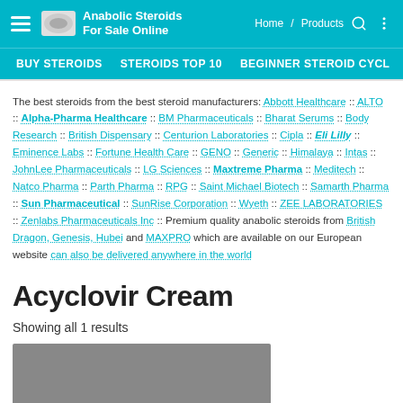Anabolic Steroids For Sale Online — Home / Products — BUY STEROIDS | STEROIDS TOP 10 | BEGINNER STEROID CYCL
The best steroids from the best steroid manufacturers: Abbott Healthcare :: ALTO :: Alpha-Pharma Healthcare :: BM Pharmaceuticals :: Bharat Serums :: Body Research :: British Dispensary :: Centurion Laboratories :: Cipla :: Eli Lilly :: Eminence Labs :: Fortune Health Care :: GENO :: Generic :: Himalaya :: Intas :: JohnLee Pharmaceuticals :: LG Sciences :: Maxtreme Pharma :: Meditech :: Natco Pharma :: Parth Pharma :: RPG :: Saint Michael Biotech :: Samarth Pharma :: Sun Pharmaceutical :: SunRise Corporation :: Wyeth :: ZEE LABORATORIES :: Zenlabs Pharmaceuticals Inc :: Premium quality anabolic steroids from British Dragon, Genesis, Hubei and MAXPRO which are available on our European website can also be delivered anywhere in the world
Acyclovir Cream
Showing all 1 results
[Figure (photo): Product image placeholder (gray rectangle)]